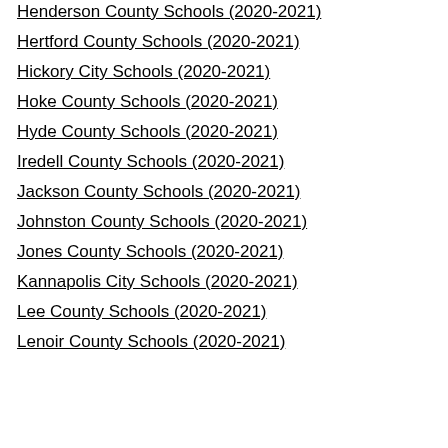Henderson County Schools (2020-2021)
Hertford County Schools (2020-2021)
Hickory City Schools (2020-2021)
Hoke County Schools (2020-2021)
Hyde County Schools (2020-2021)
Iredell County Schools (2020-2021)
Jackson County Schools (2020-2021)
Johnston County Schools (2020-2021)
Jones County Schools (2020-2021)
Kannapolis City Schools (2020-2021)
Lee County Schools (2020-2021)
Lenoir County Schools (2020-2021)